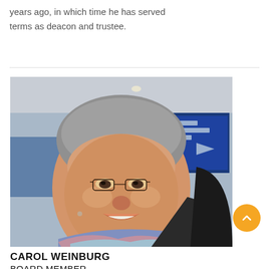years ago, in which time he has served terms as deacon and trustee.
[Figure (photo): Portrait photo of Carol Weinburg, a woman with short gray hair and glasses, smiling, wearing a colorful scarf, at what appears to be an airport or transit terminal.]
CAROL WEINBURG
BOARD MEMBER